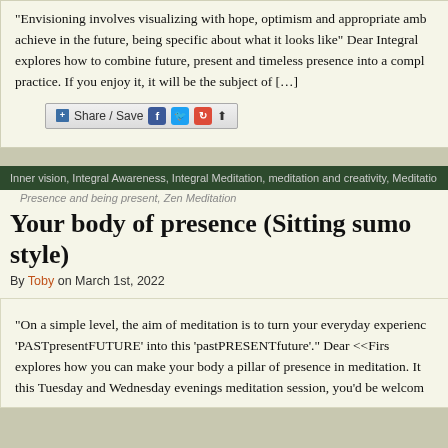“Envisioning involves visualizing with hope, optimism and appropriate amb achieve in the future, being specific about what it looks like” Dear Integral explores how to combine future, present and timeless presence into a compl practice. If you enjoy it, it will be the subject of […]
[Figure (screenshot): Share/Save button with Facebook, Twitter, and other social sharing icons]
Inner vision, Integral Awareness, Integral Meditation, meditation and creativity, Meditatio
Presence and being present, Zen Meditation
Your body of presence (Sitting sumo style)
By Toby on March 1st, 2022
“On a simple level, the aim of meditation is to turn your everyday experienc ‘PASTpresentFUTURE’ into this ‘pastPRESENTfuture’.” Dear &lt;&lt;Firs explores how you can make your body a pillar of presence in meditation. It this Tuesday and Wednesday evenings meditation session, you’d be welcom